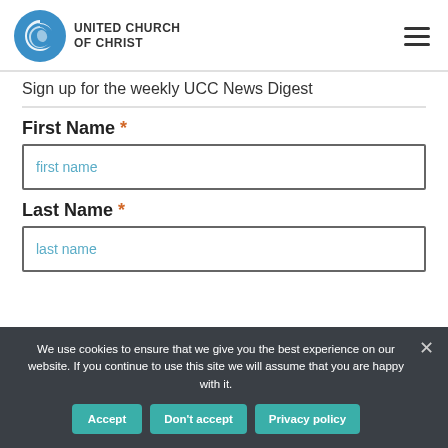[Figure (logo): United Church of Christ logo with blue spiral icon and text 'UNITED CHURCH OF CHRIST']
Sign up for the weekly UCC News Digest
First Name *
first name
Last Name *
last name
We use cookies to ensure that we give you the best experience on our website. If you continue to use this site we will assume that you are happy with it.
Accept | Don't accept | Privacy policy